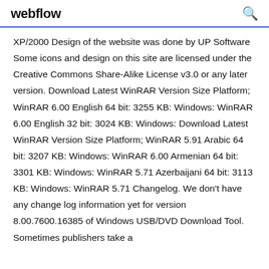webflow
XP/2000 Design of the website was done by UP Software Some icons and design on this site are licensed under the Creative Commons Share-Alike License v3.0 or any later version. Download Latest WinRAR Version Size Platform; WinRAR 6.00 English 64 bit: 3255 KB: Windows: WinRAR 6.00 English 32 bit: 3024 KB: Windows: Download Latest WinRAR Version Size Platform; WinRAR 5.91 Arabic 64 bit: 3207 KB: Windows: WinRAR 6.00 Armenian 64 bit: 3301 KB: Windows: WinRAR 5.71 Azerbaijani 64 bit: 3113 KB: Windows: WinRAR 5.71 Changelog. We don't have any change log information yet for version 8.00.7600.16385 of Windows USB/DVD Download Tool. Sometimes publishers take a